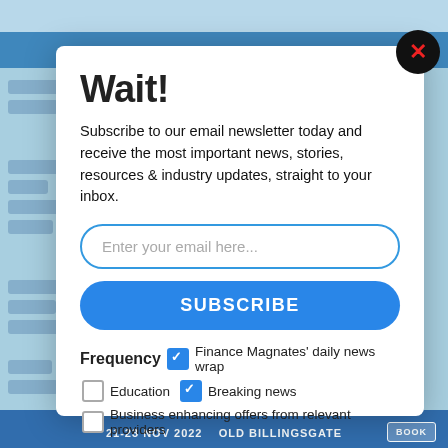Wait!
Subscribe to our email newsletter today and receive the most important news, stories, resources & industry updates, straight to your inbox.
Enter your email here...
SUBSCRIBE
Frequency ✓ Finance Magnates' daily news wrap
Education  ✓ Breaking news
Business enhancing offers from relevant providers
21-23 NOV 2022  OLD BILLINGSGATE  BOOK